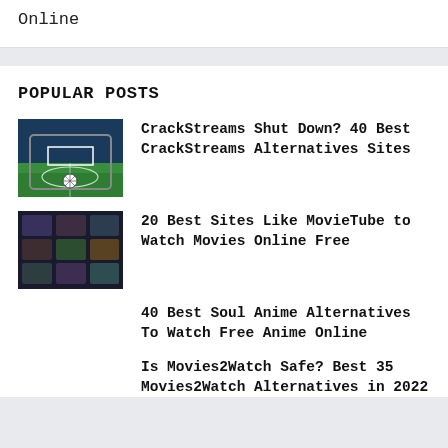Online
POPULAR POSTS
[Figure (photo): Soccer/football field with a soccer ball on a tablet screen]
CrackStreams Shut Down? 40 Best CrackStreams Alternatives Sites
[Figure (screenshot): Dark interface showing movie/TV streaming grid thumbnails]
20 Best Sites Like MovieTube to Watch Movies Online Free
40 Best Soul Anime Alternatives To Watch Free Anime Online
Is Movies2Watch Safe? Best 35 Movies2Watch Alternatives in 2022